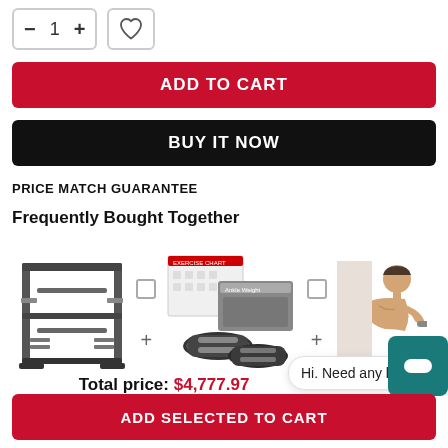[Figure (screenshot): Quantity selector with minus, 1, plus buttons and a heart/wishlist icon button]
ADD TO CART
BUY IT NOW
PRICE MATCH GUARANTEE
Frequently Bought Together
[Figure (photo): Three product images: a power rack, ankle weights with chart, and a person doing exercise. Total price shown as $4,777.97]
Total price: $4,777.97
ADD SELECTED TO CART
[Figure (screenshot): Chat widget overlay with bubble saying 'Hi. Need any help?' and teal avatar icon]